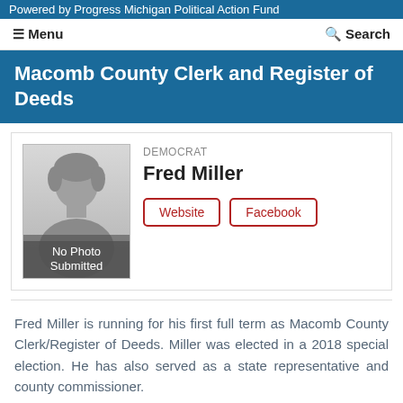Powered by Progress Michigan Political Action Fund
≡ Menu   🔍 Search
Macomb County Clerk and Register of Deeds
[Figure (photo): Silhouette placeholder image labeled 'No Photo Submitted']
DEMOCRAT
Fred Miller
Website
Facebook
Fred Miller is running for his first full term as Macomb County Clerk/Register of Deeds. Miller was elected in a 2018 special election. He has also served as a state representative and county commissioner.
Read More